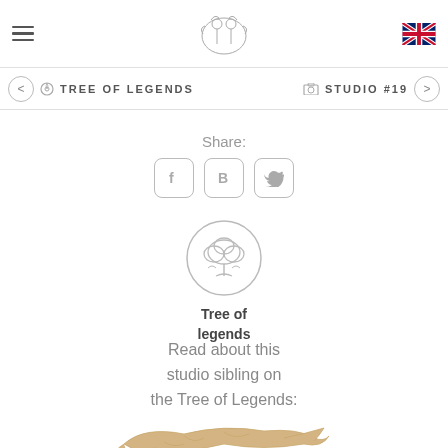Navigation bar with hamburger menu, logo, and UK flag
< TREE OF LEGENDS   [camera] STUDIO #19 >
Share:
[Figure (other): Three social share buttons: Facebook (f), Blog (B), Twitter bird icon]
[Figure (illustration): Circular logo badge with a tree/cloud illustration inside]
Tree of legends
Read about this studio sibling on the Tree of Legends:
[Figure (photo): Gold/amber colored whale figurine sculpture at the bottom of the page]